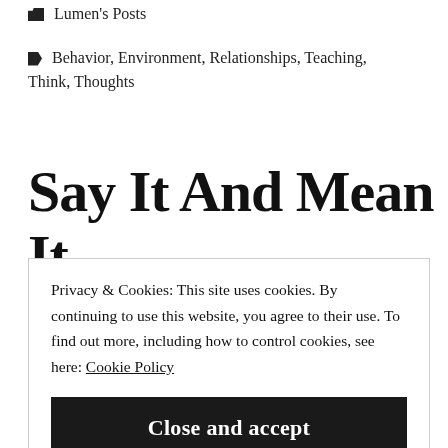Lumen's Posts
Behavior, Environment, Relationships, Teaching, Think, Thoughts
Say It And Mean It.
Privacy & Cookies: This site uses cookies. By continuing to use this website, you agree to their use. To find out more, including how to control cookies, see here: Cookie Policy
Close and accept